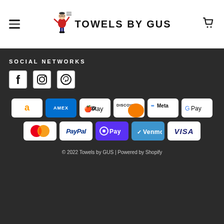[Figure (logo): Towels by GUS logo — cartoon figure of waiter carrying towels with text TOWELS BY GUS]
SOCIAL NETWORKS
[Figure (infographic): Social media icons: Facebook, Instagram, Pinterest]
[Figure (infographic): Payment method logos: Amazon, Amex, Apple Pay, Discover, Meta, Google Pay, Mastercard, PayPal, OPay, Venmo, Visa]
© 2022 Towels by GUS | Powered by Shopify